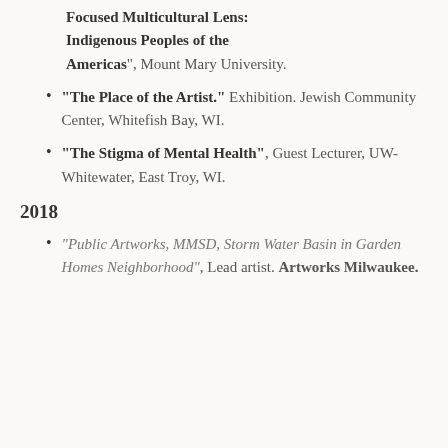Focused Multicultural Lens: Indigenous Peoples of the Americas", Mount Mary University.
"The Place of the Artist." Exhibition. Jewish Community Center, Whitefish Bay, WI.
"The Stigma of Mental Health", Guest Lecturer, UW-Whitewater, East Troy, WI.
2018
"Public Artworks, MMSD, Storm Water Basin in Garden Homes Neighborhood", Lead artist. Artworks Milwaukee.